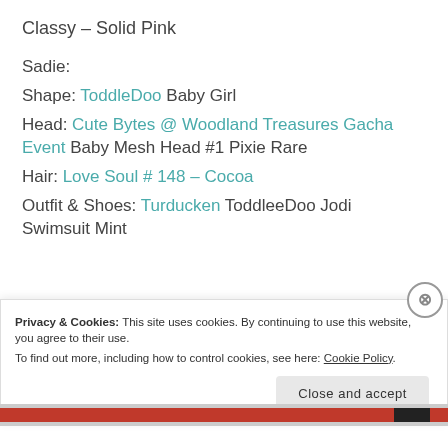Classy – Solid Pink
Sadie:
Shape: ToddleDoo Baby Girl
Head: Cute Bytes @ Woodland Treasures Gacha Event Baby Mesh Head #1 Pixie Rare
Hair: Love Soul # 148 – Cocoa
Outfit & Shoes: Turducken ToddleeDoo Jodi Swimsuit Mint
Privacy & Cookies: This site uses cookies. By continuing to use this website, you agree to their use.
To find out more, including how to control cookies, see here: Cookie Policy
Close and accept